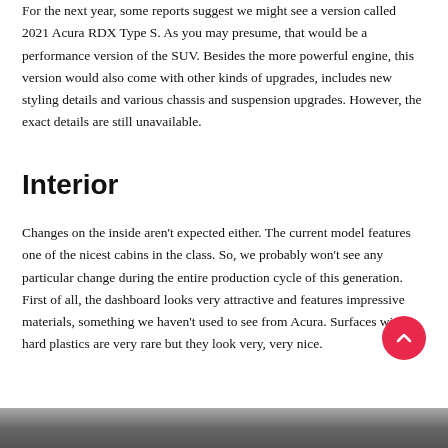For the next year, some reports suggest we might see a version called 2021 Acura RDX Type S. As you may presume, that would be a performance version of the SUV. Besides the more powerful engine, this version would also come with other kinds of upgrades, includes new styling details and various chassis and suspension upgrades. However, the exact details are still unavailable.
Interior
Changes on the inside aren't expected either. The current model features one of the nicest cabins in the class. So, we probably won't see any particular change during the entire production cycle of this generation. First of all, the dashboard looks very attractive and features impressive materials, something we haven't used to see from Acura. Surfaces with hard plastics are very rare but they look very, very nice.
[Figure (photo): Partial bottom strip of a car interior photo, dark tones]